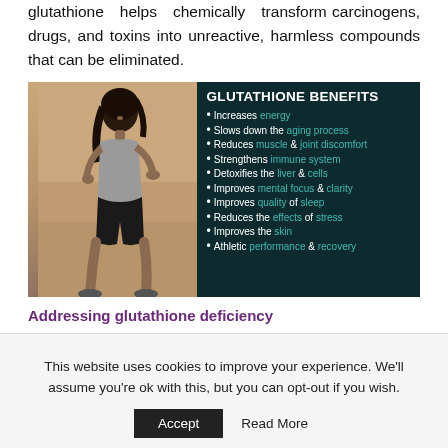glutathione helps chemically transform carcinogens, drugs, and toxins into unreactive, harmless compounds that can be eliminated.
[Figure (infographic): Split infographic: left side shows a woman running on a beach, right side is a dark teal panel listing GLUTATHIONE BENEFITS with bullet points: Increases energy, Slows down the aging process, Reduces muscle & joint discomfort, Strengthens immune system, Detoxifies the liver & cells, Improves mental focus & clarity, Improves quality of sleep, Reduces the effects of stress, Improves the skin, Athletic performance & recovery]
Addressing glutathione deficiency
This website uses cookies to improve your experience. We'll assume you're ok with this, but you can opt-out if you wish.